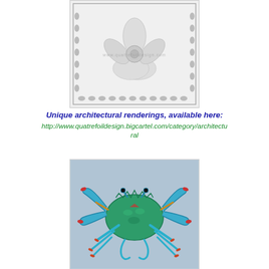[Figure (illustration): Pencil/graphite architectural rendering of a decorative rosette or floral medallion motif set within a rectangular ornamental frame. The design shows a large central flower with petals, flanked by smaller floral elements, all rendered in detailed grayscale shading. A watermark reading 'www.quatrefoildesign.com' is visible across the image. The border features repeating oval bead-like ornaments along the bottom edge.]
Unique architectural renderings, available here:
http://www.quatrefoildesign.bigcartel.com/category/architectural
[Figure (illustration): Colorful painting of a blue crab viewed from above on a light blue-gray background. The crab is rendered in teal, blue, and green tones with orange and red accents on the claws and legs. The body (carapace) is painted in vibrant green, and the painting has an expressive, painterly style with visible brushstrokes.]